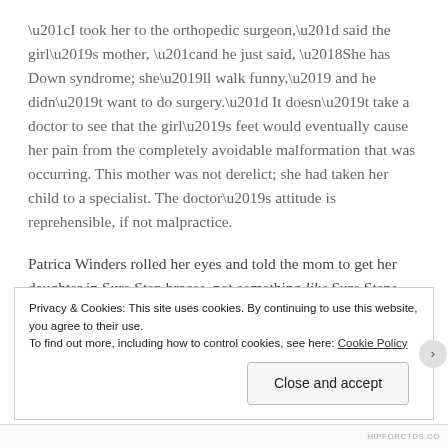“I took her to the orthopedic surgeon,” said the girl’s mother, “and he just said, ‘She has Down syndrome; she’ll walk funny,’ and he didn’t want to do surgery.” It doesn’t take a doctor to see that the girl’s feet would eventually cause her pain from the completely avoidable malformation that was occurring. This mother was not derelict; she had taken her child to a specialist. The doctor’s attitude is reprehensible, if not malpractice.
Patrica Winders rolled her eyes and told the mom to get her daughter in Sure Step braces, not something like Sure Steps, but precisely that brand. And she stated to the
Privacy & Cookies: This site uses cookies. By continuing to use this website, you agree to their use.
To find out more, including how to control cookies, see here: Cookie Policy
Close and accept